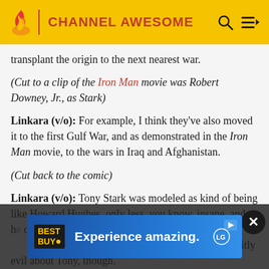CHANNEL AWESOME
transplant the origin to the next nearest war.
(Cut to a clip of the Iron Man movie was Robert Downey, Jr., as Stark)
Linkara (v/o): For example, I think they've also moved it to the first Gulf War, and as demonstrated in the Iron Man movie, to the wars in Iraq and Afghanistan.
(Cut back to the comic)
Linkara (v/o): Tony Stark was modeled as kind of being like Howard Hughes, only less, you know, insane, and he does come from old money and does stuff they've established at some point of time. There's nothing explicitly evil about Tony, though.
[Figure (screenshot): Best Buy advertisement banner: 'Experience amazing.' with LG logo, overlaid on page bottom with dark overlay and close button]